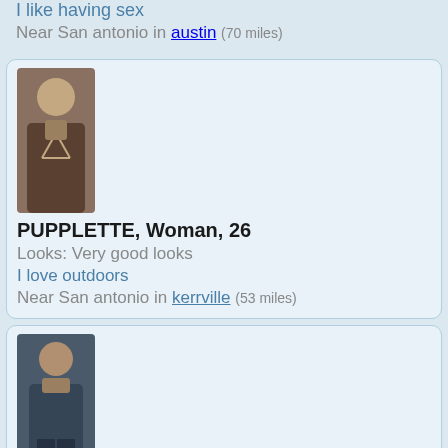I like having sex
Near San antonio in austin (70 miles)
[Figure (photo): Profile photo of PUPPLETTE, a woman wearing a dark top]
PUPPLETTE, Woman, 26
Looks: Very good looks
I love outdoors
Near San antonio in kerrville (53 miles)
[Figure (photo): Profile photo of HOTELNIGHT, a man]
HOTELNIGHT, Man, 37
Looks: Average
Never a dull moment. Straight forward. Up for